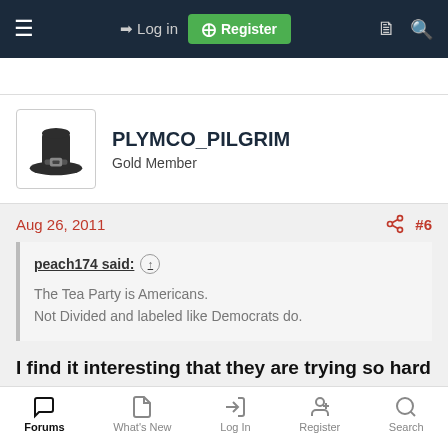≡  →) Log in  [+] Register
PLYMCO_PILGRIM
Gold Member
Aug 26, 2011  #6
peach174 said: ↑

The Tea Party is Americans.
Not Divided and labeled like Democrats do.
I find it interesting that they are trying so hard to stick
Forums  What's New  Log In  Register  Search